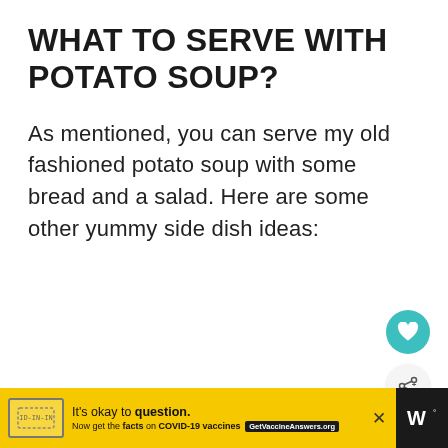WHAT TO SERVE WITH POTATO SOUP?
As mentioned, you can serve my old fashioned potato soup with some bread and a salad. Here are some other yummy side dish ideas:
[Figure (other): Teal circular heart/favorite button icon]
[Figure (other): Light gray circular share button icon]
[Figure (other): What's Next panel with thumbnail of Crockpot Ham and Cabbage recipe]
[Figure (other): Advertisement bar: yellow background, stamp icon, text: It's okay to question. Now get the facts on COVID-19 vaccines. GetVaccineAnswers.org, close button X, and dark strip with W logo on right]